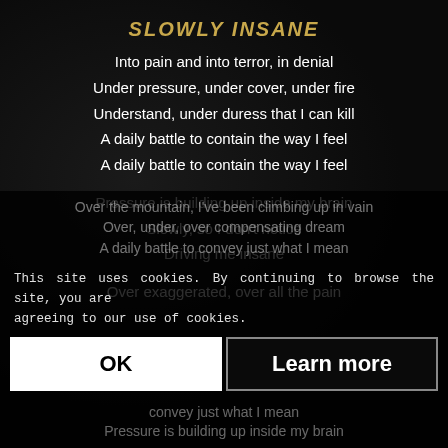SLOWLY INSANE
Into pain and into terror, in denial
Under pressure, under cover, under fire
Understand, under duress that I can kill
A daily battle to contain the way I feel
A daily battle to contain the way I feel

Pressure is building up inside my brain
Slowly, so I don't notice
Driving me insane

Over exaggerated, over all the pain
Over the mountain, I've been climbing up in vain
Over, under, over compensating dream
A daily battle to convey just what I mean
convey just what I mean
This site uses cookies. By continuing to browse the site, you are agreeing to our use of cookies.
OK    Learn more
Pressure is building up inside my brain